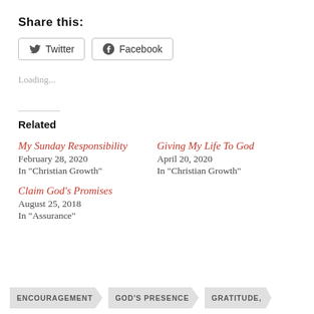Share this:
Twitter  Facebook
Loading...
Related
My Sunday Responsibility
February 28, 2020
In "Christian Growth"
Giving My Life To God
April 20, 2020
In "Christian Growth"
Claim God's Promises
August 25, 2018
In "Assurance"
ENCOURAGEMENT   GOD'S PRESENCE   GRATITUDE,